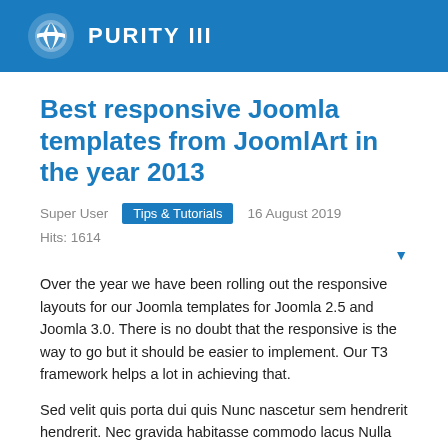PURITY III
Best responsive Joomla templates from JoomlArt in the year 2013
Super User   Tips & Tutorials   16 August 2019   Hits: 1614
Over the year we have been rolling out the responsive layouts for our Joomla templates for Joomla 2.5 and Joomla 3.0. There is no doubt that the responsive is the way to go but it should be easier to implement. Our T3 framework helps a lot in achieving that.
Sed velit quis porta dui quis Nunc nascetur sem hendrerit hendrerit. Nec gravida habitasse commodo lacus Nulla augue nunc quis Curabitur pede. Cursus Morbi tincidunt nec sed laoreet